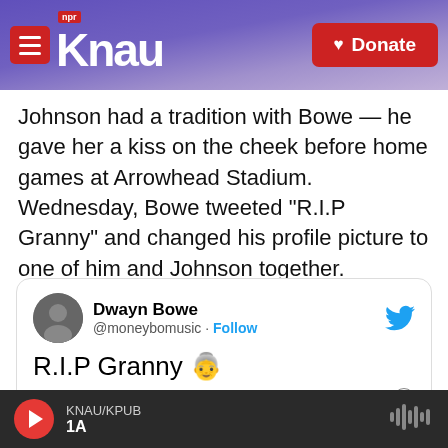KNAU - NPR · Donate
Johnson had a tradition with Bowe — he gave her a kiss on the cheek before home games at Arrowhead Stadium. Wednesday, Bowe tweeted "R.I.P Granny" and changed his profile picture to one of him and Johnson together.
[Figure (screenshot): Embedded tweet from @moneybomusic (Dwayn Bowe) reading 'R.I.P Granny 👵' posted at 12:24 AM · Apr 23, 2015, with 208 likes, Reply, and Copy link actions, and a 'Read 34 replies' link.]
KNAU/KPUB · 1A